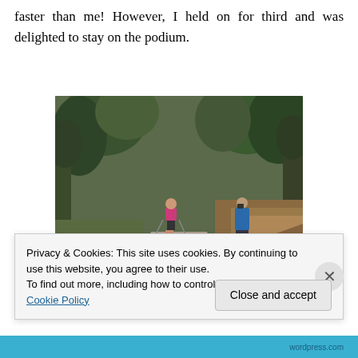faster than me! However, I held on for third and was delighted to stay on the podium.
[Figure (photo): A runner in a pink top with poles running along a muddy forest trail. Trees and brown bracken surround the path. Another person in a blue jacket stands to the right watching.]
Privacy & Cookies: This site uses cookies. By continuing to use this website, you agree to their use.
To find out more, including how to control cookies, see here: Cookie Policy
wordpress.com